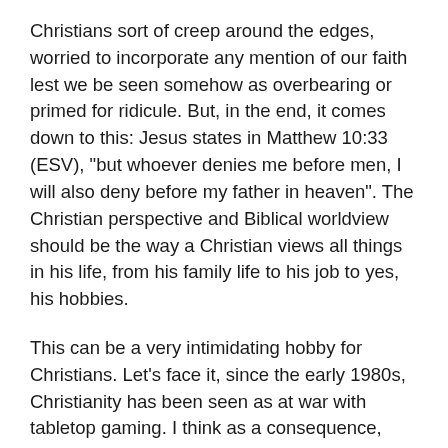Christians sort of creep around the edges, worried to incorporate any mention of our faith lest we be seen somehow as overbearing or primed for ridicule. But, in the end, it comes down to this: Jesus states in Matthew 10:33 (ESV), "but whoever denies me before men, I will also deny before my father in heaven". The Christian perspective and Biblical worldview should be the way a Christian views all things in his life, from his family life to his job to yes, his hobbies.
This can be a very intimidating hobby for Christians. Let's face it, since the early 1980s, Christianity has been seen as at war with tabletop gaming. I think as a consequence, many of us are extremely gun-shy about bringing our religion up, when it should be a source of comfort, of happiness, and the guide for how we treat others in this hobby and in our lives. We don't want to "weird people out", or be seen as some caricature, or have people throw whatever stones they care to. The thing is, we are partaking